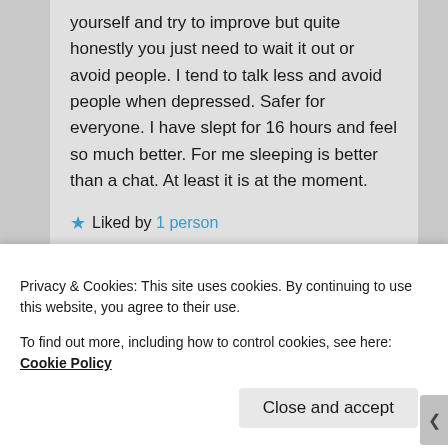yourself and try to improve but quite honestly you just need to wait it out or avoid people. I tend to talk less and avoid people when depressed. Safer for everyone. I have slept for 16 hours and feel so much better. For me sleeping is better than a chat. At least it is at the moment.
★ Liked by 1 person
Log in to Reply
Privacy & Cookies: This site uses cookies. By continuing to use this website, you agree to their use.
To find out more, including how to control cookies, see here: Cookie Policy